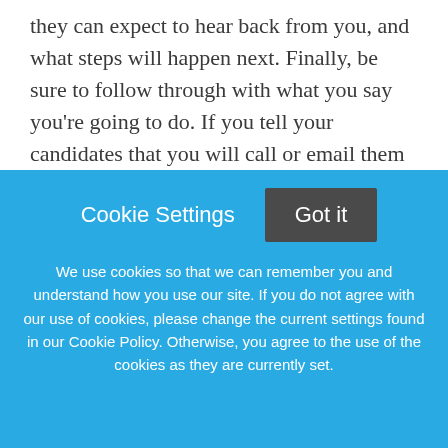they can expect to hear back from you, and what steps will happen next. Finally, be sure to follow through with what you say you're going to do. If you tell your candidates that you will call or email them in the next 48 hours, make sure you do just that.
In summary, prepare for interviews in advance, ask intentional and strategic questions, and
Cookie Settings
Got it
We use cookies so that we can remember you and understand how you use our site. If you do not agree with our use of cookies, please change the current settings found in our Cookie Policy. Otherwise, you agree to the use of the cookies as they are currently set.